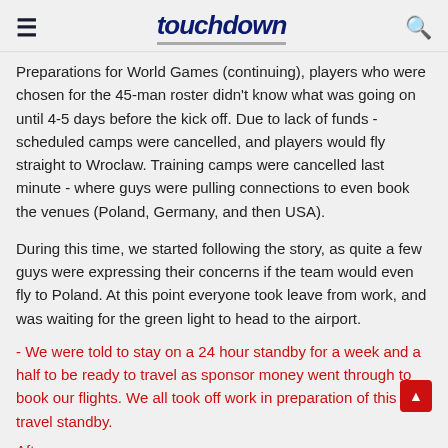touchdown
Preparations for World Games (continuing), players who were chosen for the 45-man roster didn't know what was going on until 4-5 days before the kick off. Due to lack of funds - scheduled camps were cancelled, and players would fly straight to Wroclaw. Training camps were cancelled last minute - where guys were pulling connections to even book the venues (Poland, Germany, and then USA).
During this time, we started following the story, as quite a few guys were expressing their concerns if the team would even fly to Poland. At this point everyone took leave from work, and was waiting for the green light to head to the airport.
- We were told to stay on a 24 hour standby for a week and a half to be ready to travel as sponsor money went through to book our flights. We all took off work in preparation of this travel standby.
After...